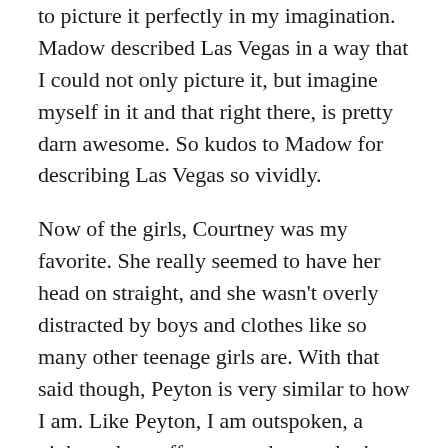to picture it perfectly in my imagination. Madow described Las Vegas in a way that I could not only picture it, but imagine myself in it and that right there, is pretty darn awesome. So kudos to Madow for describing Las Vegas so vividly.
Now of the girls, Courtney was my favorite. She really seemed to have her head on straight, and she wasn't overly distracted by boys and clothes like so many other teenage girls are. With that said though, Peyton is very similar to how I am. Like Peyton, I am outspoken, a night owl, a coffee nut and several other things. It actually felt like I was Peyton a couple of times so that was a wee bit disconcerting. Now Savannah is the least like me. We are complete opposites in basically everything.
I wasn't into the romances all that much, I